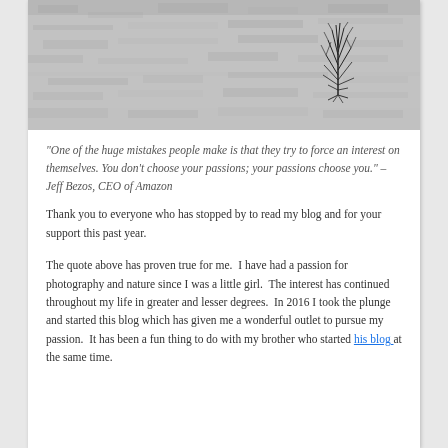[Figure (photo): Black and white photograph of a sparse, bare plant or bush growing in a flat sandy or snowy landscape, viewed from above or at a low angle. The image is wide and horizontal with a grainy texture.]
"One of the huge mistakes people make is that they try to force an interest on themselves. You don't choose your passions; your passions choose you." –Jeff Bezos, CEO of Amazon
Thank you to everyone who has stopped by to read my blog and for your support this past year.
The quote above has proven true for me.  I have had a passion for photography and nature since I was a little girl.  The interest has continued throughout my life in greater and lesser degrees.  In 2016 I took the plunge and started this blog which has given me a wonderful outlet to pursue my passion.  It has been a fun thing to do with my brother who started his blog at the same time.